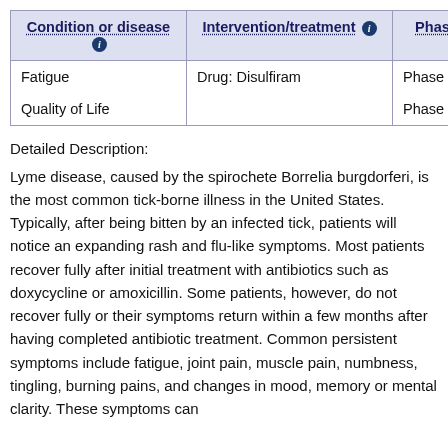| Condition or disease ℹ | Intervention/treatment ℹ | Phase ℹ |
| --- | --- | --- |
| Fatigue

Quality of Life | Drug: Disulfiram | Phase 1

Phase 2 |
Detailed Description:
Lyme disease, caused by the spirochete Borrelia burgdorferi, is the most common tick-borne illness in the United States. Typically, after being bitten by an infected tick, patients will notice an expanding rash and flu-like symptoms. Most patients recover fully after initial treatment with antibiotics such as doxycycline or amoxicillin. Some patients, however, do not recover fully or their symptoms return within a few months after having completed antibiotic treatment. Common persistent symptoms include fatigue, joint pain, muscle pain, numbness, tingling, burning pains, and changes in mood, memory or mental clarity. These symptoms can